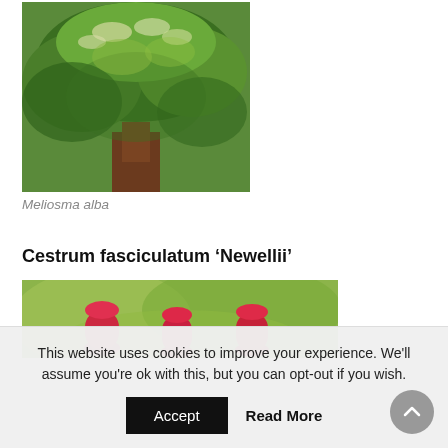[Figure (photo): Photo of Meliosma alba tree with green foliage and small white flowers]
Meliosma alba
Cestrum fasciculatum ‘Newellii’
[Figure (photo): Photo of Cestrum fasciculatum 'Newellii' showing red tubular flower buds with green blurred background]
This website uses cookies to improve your experience. We'll assume you're ok with this, but you can opt-out if you wish.